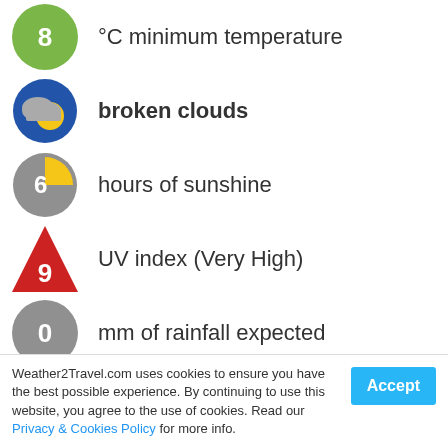8 °C minimum temperature
broken clouds
6 hours of sunshine
9 UV index (Very High)
0 mm of rainfall expected
0 no heat & humidity
22 kph wind from SE
Weather2Travel.com uses cookies to ensure you have the best possible experience. By continuing to use this website, you agree to the use of cookies. Read our Privacy & Cookies Policy for more info.